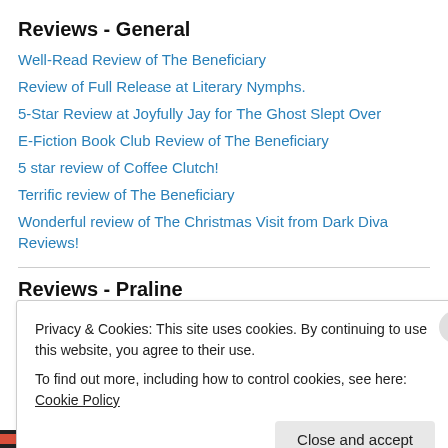Reviews - General
Well-Read Review of The Beneficiary
Review of Full Release at Literary Nymphs.
5-Star Review at Joyfully Jay for The Ghost Slept Over
E-Fiction Book Club Review of The Beneficiary
5 star review of Coffee Clutch!
Terrific review of The Beneficiary
Wonderful review of The Christmas Visit from Dark Diva Reviews!
Reviews - Praline
Privacy & Cookies: This site uses cookies. By continuing to use this website, you agree to their use.
To find out more, including how to control cookies, see here: Cookie Policy